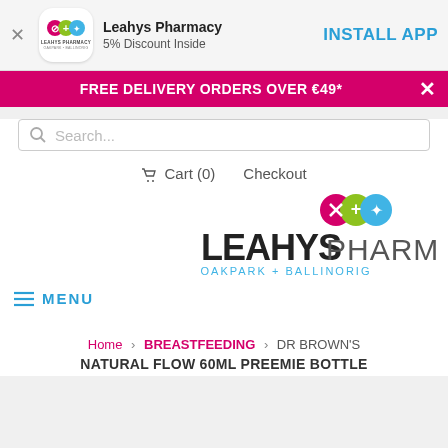[Figure (screenshot): Leahys Pharmacy app install banner with logo, name, 5% Discount Inside text, and INSTALL APP button]
FREE DELIVERY ORDERS OVER €49*
[Figure (screenshot): Search bar with search icon and placeholder text]
Cart (0)   Checkout
[Figure (logo): Leahys Pharmacy logo with three colored circles and LEAHYS PHARMACY OAKPARK + BALLINORIG text]
≡ MENU
Home › BREASTFEEDING › DR BROWN'S
NATURAL FLOW 60ML PREEMIE BOTTLE